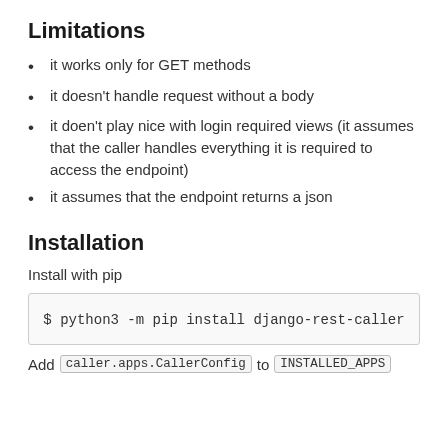Limitations
it works only for GET methods
it doesn't handle request without a body
it doen't play nice with login required views (it assumes that the caller handles everything it is required to access the endpoint)
it assumes that the endpoint returns a json
Installation
Install with pip
$ python3 -m pip install django-rest-caller
Add caller.apps.CallerConfig to INSTALLED_APPS